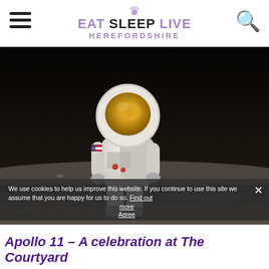EAT SLEEP LIVE HEREFORDSHIRE
[Figure (photo): Photograph of an astronaut in a white spacesuit standing on the lunar surface, with a gold-visor helmet reflecting light, American flag patch visible on the arm, taken during the Apollo 11 mission.]
We use cookies to help us improve this website. If you continue to use this site we assume that you are happy for us to do so. Find out more
Apollo 11 – A celebration at The Courtyard